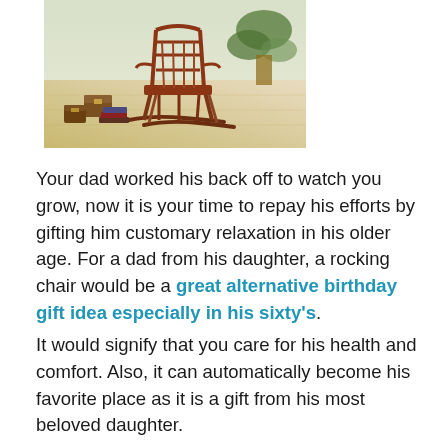[Figure (photo): A wooden rocking chair on a light wood floor, with small decorative treasure chests and books on the floor beside it, and a green plant in the background.]
Your dad worked his back off to watch you grow, now it is your time to repay his efforts by gifting him customary relaxation in his older age. For a dad from his daughter, a rocking chair would be a great alternative birthday gift idea especially in his sixty's.
It would signify that you care for his health and comfort. Also, it can automatically become his favorite place as it is a gift from his most beloved daughter.